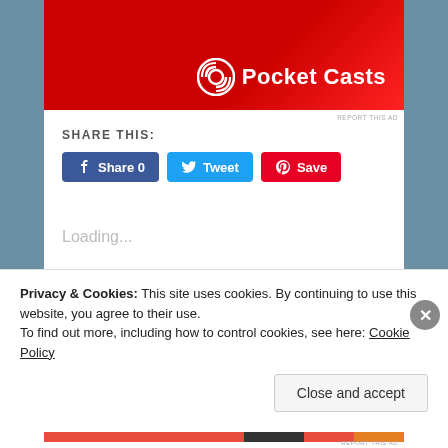[Figure (logo): Pocket Casts advertisement banner with red background and white Pocket Casts logo]
REPORT THIS AD
SHARE THIS:
Share 0  Tweet  Save (social share buttons)
Loading...
RELATED
Rustic Charm – minted   Chalkboard Accents
Privacy & Cookies: This site uses cookies. By continuing to use this website, you agree to their use.
To find out more, including how to control cookies, see here: Cookie Policy
Close and accept